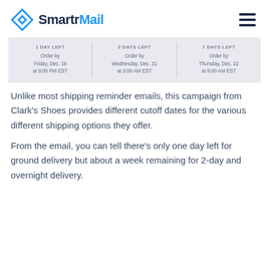SmartrMail
[Figure (screenshot): Partial screenshot of a shipping deadline email from Clark's Shoes showing three columns: 1 Day Left (Order by Friday, Dec. 16 at 9:00 PM EST), 0 Days Left (Order by Wednesday, Dec. 21 at 9:00 AM EST), 1 Days Left (Order by Thursday, Dec. 22 at 9:00 AM EST)]
Unlike most shipping reminder emails, this campaign from Clark's Shoes provides different cutoff dates for the various different shipping options they offer.
From the email, you can tell there's only one day left for ground delivery but about a week remaining for 2-day and overnight delivery.